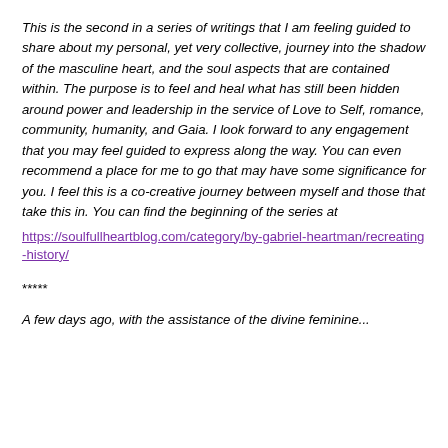This is the second in a series of writings that I am feeling guided to share about my personal, yet very collective, journey into the shadow of the masculine heart, and the soul aspects that are contained within. The purpose is to feel and heal what has still been hidden around power and leadership in the service of Love to Self, romance, community, humanity, and Gaia. I look forward to any engagement that you may feel guided to express along the way. You can even recommend a place for me to go that may have some significance for you. I feel this is a co-creative journey between myself and those that take this in. You can find the beginning of the series at
https://soulfullheartblog.com/category/by-gabriel-heartman/recreating-history/
*****
A few days ago, with the assistance of the divine feminine...